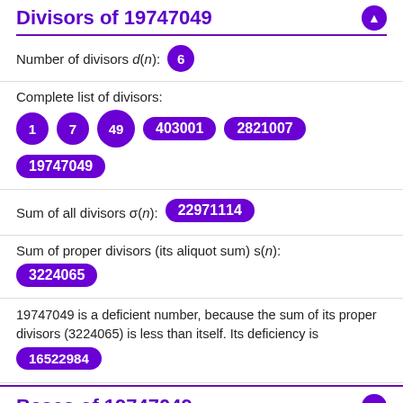Divisors of 19747049
Number of divisors d(n): 6
Complete list of divisors: 1, 7, 49, 403001, 2821007, 19747049
Sum of all divisors σ(n): 22971114
Sum of proper divisors (its aliquot sum) s(n): 3224065
19747049 is a deficient number, because the sum of its proper divisors (3224065) is less than itself. Its deficiency is 16522984
Bases of 19747049